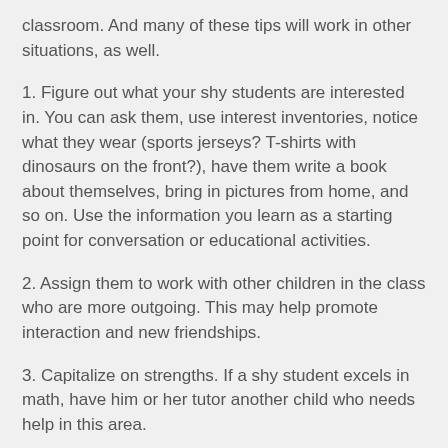classroom. And many of these tips will work in other situations, as well.
1. Figure out what your shy students are interested in. You can ask them, use interest inventories, notice what they wear (sports jerseys? T-shirts with dinosaurs on the front?), have them write a book about themselves, bring in pictures from home, and so on. Use the information you learn as a starting point for conversation or educational activities.
2. Assign them to work with other children in the class who are more outgoing. This may help promote interaction and new friendships.
3. Capitalize on strengths. If a shy student excels in math, have him or her tutor another child who needs help in this area.
4. (partial, cut off)